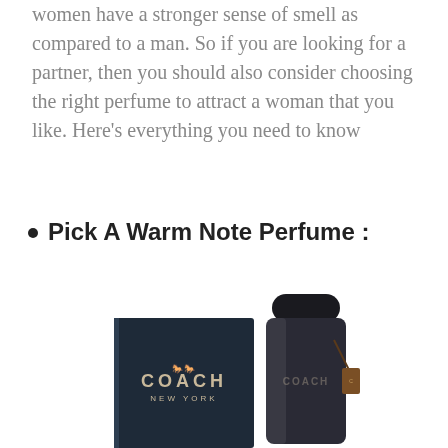women have a stronger sense of smell as compared to a man. So if you are looking for a partner, then you should also consider choosing the right perfume to attract a woman that you like. Here's everything you need to know
Pick A Warm Note Perfume :
[Figure (photo): Coach New York men's cologne/perfume product photo showing a dark navy rectangular box with the Coach logo and a matching dark glass perfume bottle with a metallic cap and leather Coach tag hanging from it.]